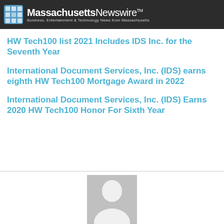Massachusetts Newswire™ — Business, Entertainment & Technology News from Massachusetts
HW Tech100 list 2021 Includes IDS Inc. for the Seventh Year
International Document Services, Inc. (IDS) earns eighth HW Tech100 Mortgage Award in 2022
International Document Services, Inc. (IDS) Earns 2020 HW Tech100 Honor For Sixth Year
[Figure (photo): Placeholder profile silhouette image in gray]
National News Review